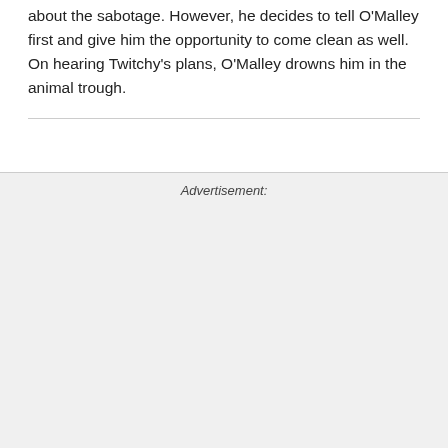about the sabotage. However, he decides to tell O'Malley first and give him the opportunity to come clean as well. On hearing Twitchy's plans, O'Malley drowns him in the animal trough.
Advertisement: